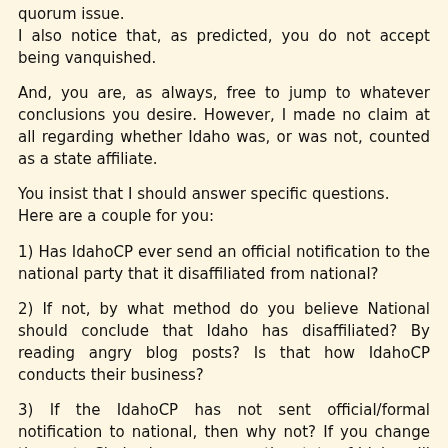quorum issue.
I also notice that, as predicted, you do not accept being vanquished.
And, you are, as always, free to jump to whatever conclusions you desire. However, I made no claim at all regarding whether Idaho was, or was not, counted as a state affiliate.
You insist that I should answer specific questions.
Here are a couple for you:
1) Has IdahoCP ever send an official notification to the national party that it disaffiliated from national?
2) If not, by what method do you believe National should conclude that Idaho has disaffiliated? By reading angry blog posts? Is that how IdahoCP conducts their business?
3) If the IdahoCP has not sent official/formal notification to national, then why not? If you change the party Chair, do you assume the state of Idaho will "figure it out" or do you